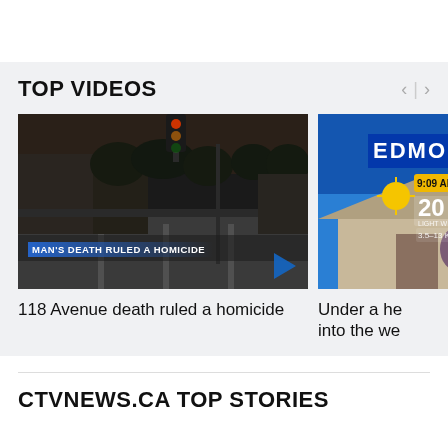TOP VIDEOS
[Figure (screenshot): Video thumbnail showing a dark street intersection at night/dusk with text overlay 'MAN'S DEATH RULED A HOMICIDE' and a play button]
[Figure (screenshot): Partially visible weather broadcast thumbnail showing 'EDMO' text, sun icon, temperature '20', and '9:09 AM']
118 Avenue death ruled a homicide
Under a he into the we
CTVNEWS.CA TOP STORIES